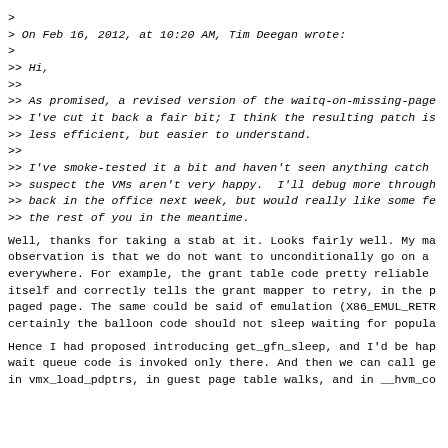>
> On Feb 16, 2012, at 10:20 AM, Tim Deegan wrote:
>
>> Hi,
>>
>> As promised, a revised version of the waitq-on-missing-page
>> I've cut it back a fair bit; I think the resulting patch is
>> less efficient, but easier to understand.
>>
>> I've smoke-tested it a bit and haven't seen anything catch
>> suspect the VMs aren't very happy.  I'll debug more through
>> back in the office next week, but would really like some fe
>> the rest of you in the meantime.
Well, thanks for taking a stab at it. Looks fairly well. My ma
observation is that we do not want to unconditionally go on a
everywhere. For example, the grant table code pretty reliable
itself and correctly tells the grant mapper to retry, in the p
paged page. The same could be said of emulation (X86_EMUL_RETR
certainly the balloon code should not sleep waiting for popula
Hence I had proposed introducing get_gfn_sleep, and I'd be hap
wait queue code is invoked only there. And then we can call ge
in vmx_load_pdptrs, in guest page table walks, and in __hvm_co